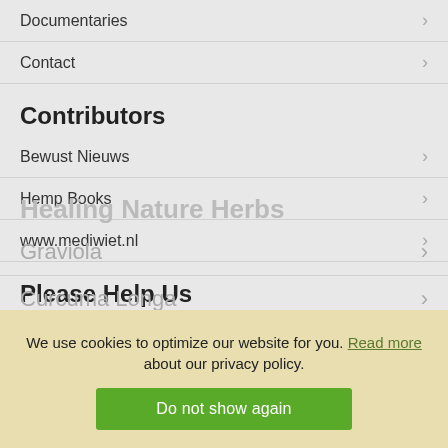Documentaries
Contact
Contributors
Bewust Nieuws
Hemp Books
www.mediwiet.nl
Please Help Us
Help Alternative Health Websites From being Suppressed! Your help is needed to protect alternative health information from censorship attacks.
Social media
[Figure (logo): Facebook icon — green circle with white letter f]
We use cookies to optimize our website for you. Read more about our privacy policy.
Healing Nature Herbs
Graviola
Curcuma Longa